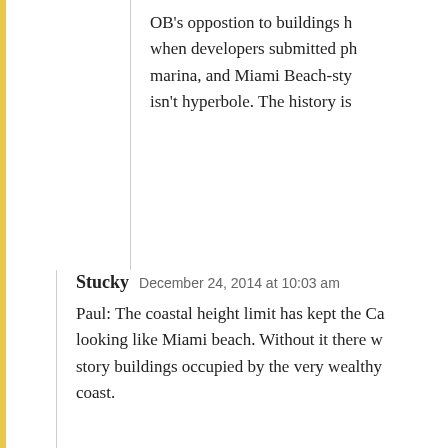OB's oppostion to buildings h when developers submitted ph marina, and Miami Beach-sty isn't hyperbole. The history is
Stucky  December 24, 2014 at 10:03 am
Paul: The coastal height limit has kept the Ca looking like Miami beach. Without it there w story buildings occupied by the very wealthy coast.
REPLY
paul jamason  December 27, 2014 at 3:3
LOL, yes – increasing the height limit to would result in the 500'+ buildings of M those here. I'm curious how areas like th